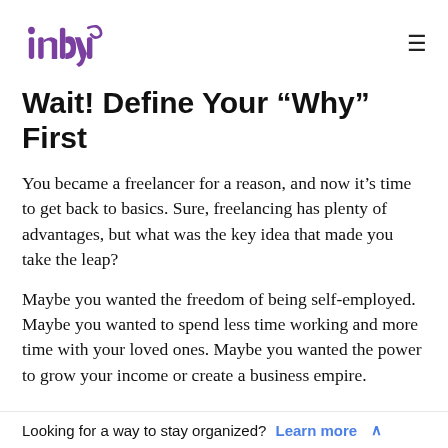indy [logo] [hamburger menu]
Wait! Define Your “Why” First
You became a freelancer for a reason, and now it’s time to get back to basics. Sure, freelancing has plenty of advantages, but what was the key idea that made you take the leap?
Maybe you wanted the freedom of being self-employed. Maybe you wanted to spend less time working and more time with your loved ones. Maybe you wanted the power to grow your income or create a business empire.
Looking for a way to stay organized? Learn more ∧